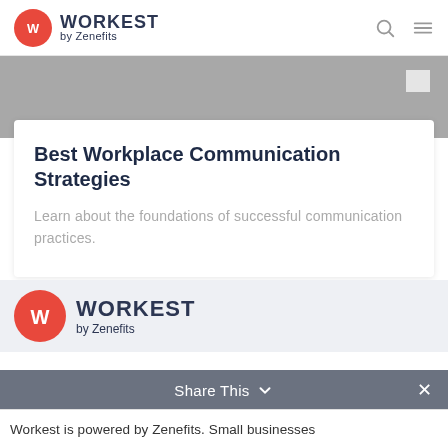WORKEST by Zenefits
[Figure (photo): Grayscale hero image showing a desk or laptop surface]
Best Workplace Communication Strategies
Learn about the foundations of successful communication practices.
[Figure (logo): Workest by Zenefits logo with red circle W icon]
Share This    ×
Workest is powered by Zenefits. Small businesses